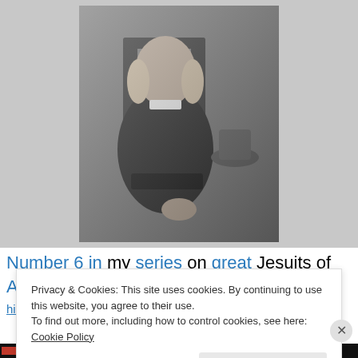[Figure (photo): Black and white photograph of a seated man in dark clerical vestments, with shoulder-length hair, sitting in a chair with a hat visible beside him.]
Number 6 in my series on great Jesuits of American history. Pierre-Jean De Smet first saw the light of day in
Privacy & Cookies: This site uses cookies. By continuing to use this website, you agree to their use.
To find out more, including how to control cookies, see here: Cookie Policy